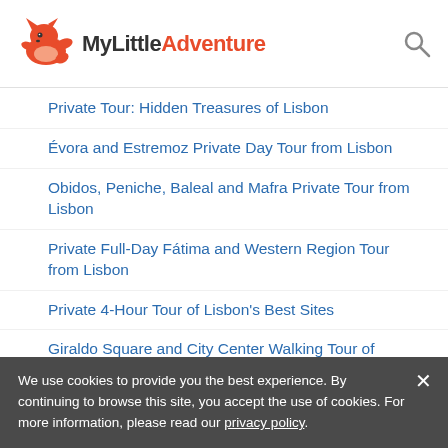MyLittleAdventure
Private Tour: Hidden Treasures of Lisbon
Évora and Estremoz Private Day Tour from Lisbon
Obidos, Peniche, Baleal and Mafra Private Tour from Lisbon
Private Full-Day Fátima and Western Region Tour from Lisbon
Private 4-Hour Tour of Lisbon's Best Sites
Giraldo Square and City Center Walking Tour of Évora
Private 6-Hour Fátima and Valinhos Tour from Lisbon
Sintra and Cascais Half Day Trip from Lisbon in Private Vehicle
Lisbon Full Day Discovery Tour in Private Vehicle
Sintra, Cascais, Estoril Full Day Trip from Lisbon in Private Vehicle
Fátima Full Day Trip from Lisbon in Private Vehicle
Lisbon Half Day Discovery Private Tour
We use cookies to provide you the best experience. By continuing to browse this site, you accept the use of cookies. For more information, please read our privacy policy.